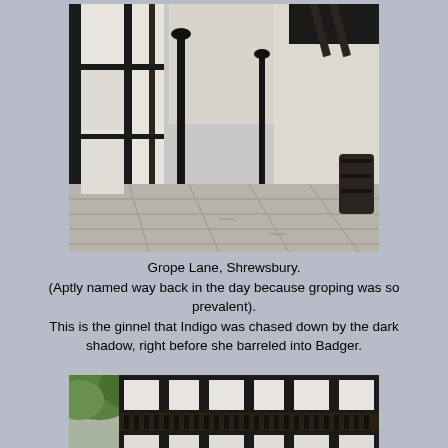[Figure (photo): Narrow cobblestone alley (Grope Lane, Shrewsbury) flanked by black-and-white timber-framed buildings on the left and white walls on the right, with black lamp posts lining the path.]
Grope Lane, Shrewsbury.
(Aptly named way back in the day because groping was so prevalent).
This is the ginnel that Indigo was chased down by the dark shadow, right before she barreled into Badger.
[Figure (photo): Black-and-white timber-framed Tudor-style building facade with ornate balcony railings and green trees visible at upper left, street-level view.]